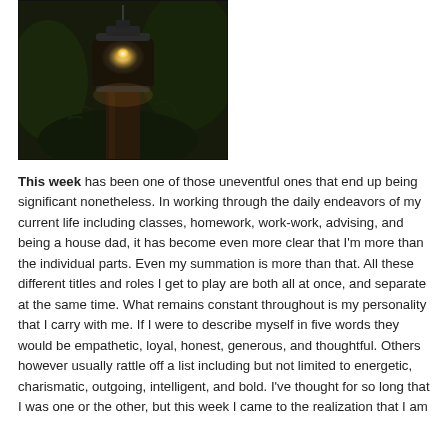[Figure (photo): A vintage lantern with glowing light, mounted on a dark wooden post, photographed in a moody, dark outdoor setting.]
This week has been one of those uneventful ones that end up being significant nonetheless. In working through the daily endeavors of my current life including classes, homework, work-work, advising, and being a house dad, it has become even more clear that I'm more than the individual parts. Even my summation is more than that. All these different titles and roles I get to play are both all at once, and separate at the same time. What remains constant throughout is my personality that I carry with me. If I were to describe myself in five words they would be empathetic, loyal, honest, generous, and thoughtful. Others however usually rattle off a list including but not limited to energetic, charismatic, outgoing, intelligent, and bold. I've thought for so long that I was one or the other, but this week I came to the realization that I am